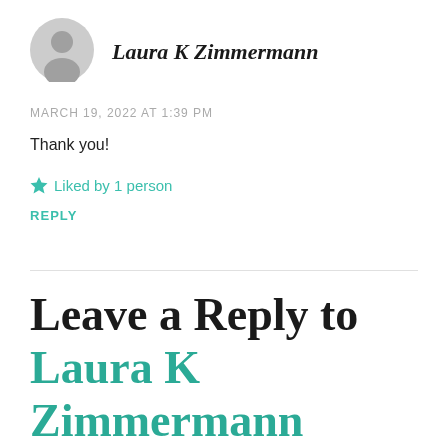[Figure (illustration): Gray circular avatar/profile picture placeholder with a generic person silhouette]
Laura K Zimmermann
MARCH 19, 2022 AT 1:39 PM
Thank you!
★ Liked by 1 person
REPLY
Leave a Reply to Laura K Zimmermann Cancel reply